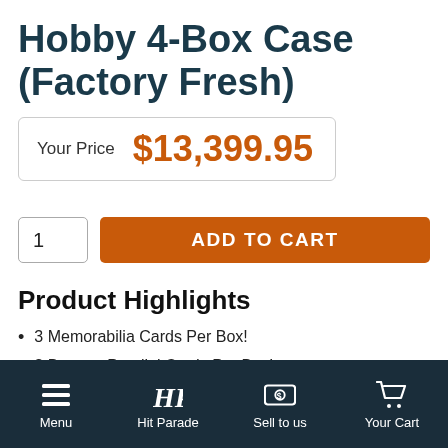Hobby 4-Box Case (Factory Fresh)
Your Price $13,399.95
1 ADD TO CART
Product Highlights
3 Memorabilia Cards Per Box!
3 Base or Parallel Cards Per Box!
4 Autographs Per Box!
Look for Sneaker Spotlight Signatures!
Menu  Hit Parade  Sell to us  Your Cart